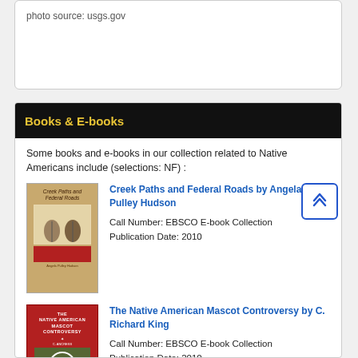photo source: usgs.gov
Books & E-books
Some books and e-books in our collection related to Native Americans include (selections: NF) :
Creek Paths and Federal Roads by Angela Pulley Hudson
Call Number: EBSCO E-book Collection
Publication Date: 2010
The Native American Mascot Controversy by C. Richard King
Call Number: EBSCO E-book Collection
Publication Date: 2010